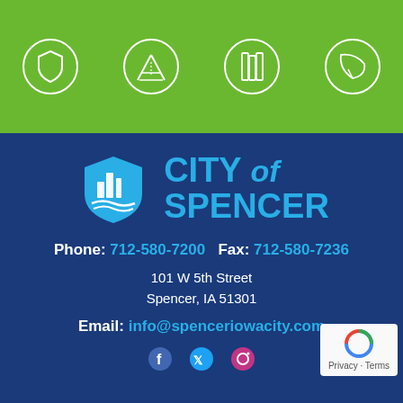[Figure (illustration): Green header banner with four circular white line icons: shield, road/highway, books/library, leaf/environment]
[Figure (logo): City of Spencer logo: blue shield with city skyline silhouette and waves, beside text CITY of SPENCER in bold blue]
Phone: 712-580-7200    Fax: 712-580-7236
101 W 5th Street
Spencer, IA 51301
Email: info@spenceriowacity.com
[Figure (illustration): Social media icons: Facebook, Twitter/X, Instagram at bottom of page]
[Figure (illustration): reCAPTCHA badge: Privacy - Terms]